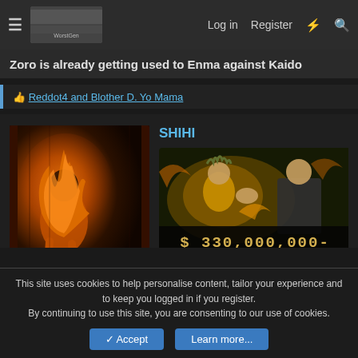☰  [site logo]  Log in  Register  ⚡  🔍
Zoro is already getting used to Enma against Kaido
Reddot4 and Blother D. Yo Mama
[Figure (screenshot): Forum post with user avatar showing orange glowing figure and a bounty card showing $330,000,000-]
Mar 5, 2021   #9,750
This site uses cookies to help personalise content, tailor your experience and to keep you logged in if you register.
By continuing to use this site, you are consenting to our use of cookies.
✓ Accept   Learn more...